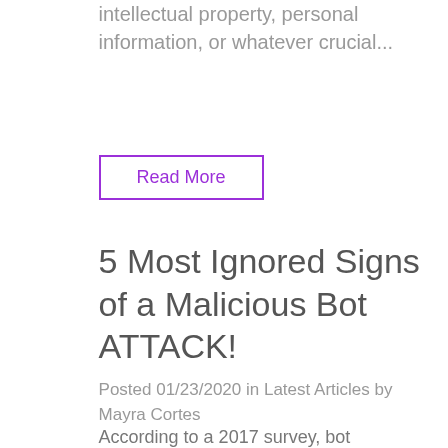intellectual property, personal information, or whatever crucial...
Read More
5 Most Ignored Signs of a Malicious Bot ATTACK!
Posted 01/23/2020 in Latest Articles by Mayra Cortes
According to a 2017 survey, bot